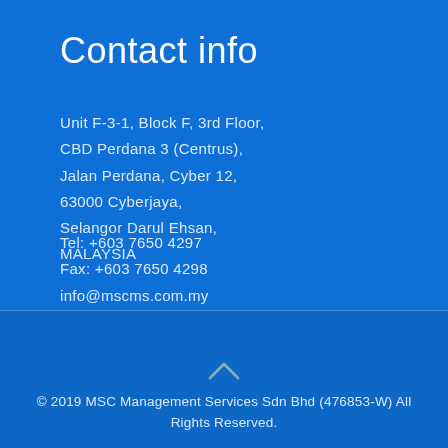Contact info
Unit F-3-1, Block F, 3rd Floor,
CBD Perdana 3 (Centrus),
Jalan Perdana, Cyber 12,
63000 Cyberjaya,
Selangor Darul Ehsan,
MALAYSIA
Tel: +603 7650 4297
Fax: +603 7650 4298
info@mscms.com.my
[Figure (illustration): Upward caret/chevron arrow icon in gray]
© 2019 MSC Management Services Sdn Bhd (476853-W) All Rights Reserved.